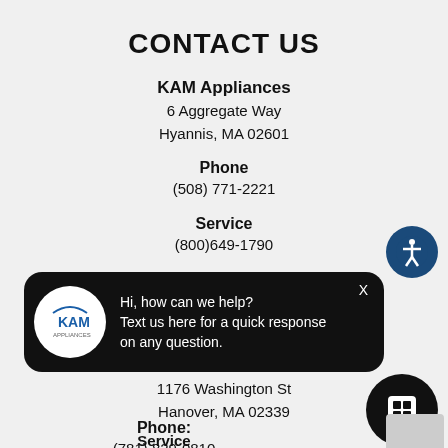CONTACT US
KAM Appliances
6 Aggregate Way
Hyannis, MA 02601
Phone
(508) 771-2221
Service
(800)649-1790
[Figure (other): Chat widget with KAM Appliances logo and text: Hi, how can we help? Text us here for a quick response on any question.]
1176 Washington St
Hanover, MA 02339
Phone:
(781) 829-0810
Service